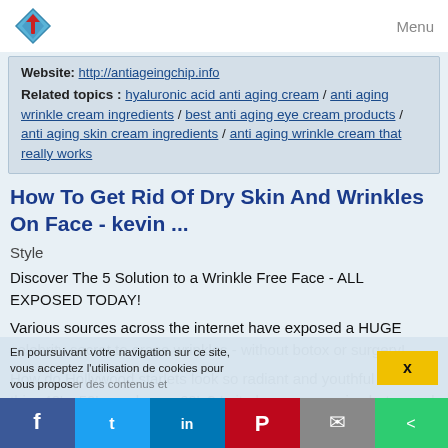Menu
Website: http://antiageingchip.info
Related topics : hyaluronic acid anti aging cream / anti aging wrinkle cream ingredients / best anti aging eye cream products / anti aging skin cream ingredients / anti aging wrinkle cream that really works
How To Get Rid Of Dry Skin And Wrinkles On Face - kevin ...
Style
Discover The 5 Solution to a Wrinkle Free Face - ALL EXPOSED TODAY!
Various sources across the internet have exposed a HUGE celebrity secret to erase wrinkles - without botox or surgery!
How do Hollywood starlets look so radiant and youthful well into thier 40's, 50's, and even 60's? Is it always expensive botox and dangerous plastic surgery? According to various
En poursuivant votre navigation sur ce site, vous acceptez l'utilisation de cookies pour vous proposer des contenus et